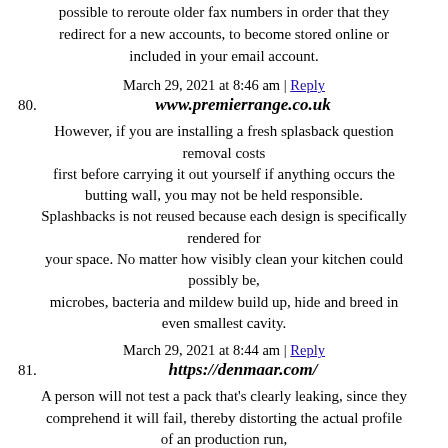possible to reroute older fax numbers in order that they redirect for a new accounts, to become stored online or included in your email account.
March 29, 2021 at 8:46 am | Reply
80. www.premierrange.co.uk
However, if you are installing a fresh splasback question removal costs first before carrying it out yourself if anything occurs the butting wall, you may not be held responsible. Splashbacks is not reused because each design is specifically rendered for your space. No matter how visibly clean your kitchen could possibly be, microbes, bacteria and mildew build up, hide and breed in even smallest cavity.
March 29, 2021 at 8:44 am | Reply
81. https://denmaar.com/
A person will not test a pack that's clearly leaking, since they comprehend it will fail, thereby distorting the actual profile of an production run, while a machine will collect the sample and report the end result objectively.